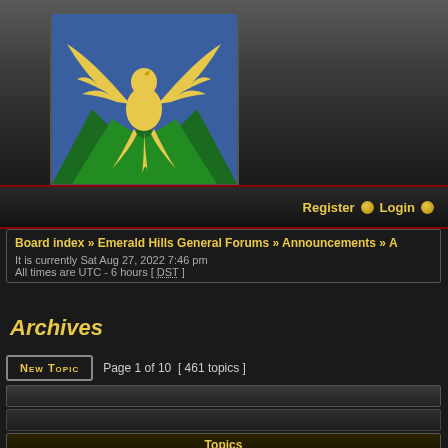[Figure (logo): Yellow phoenix bird on blue and green background, wings spread upward]
Register  Login
Board index » Emerald Hills General Forums » Announcements »
It is currently Sat Aug 27, 2022 7:46 pm
All times are UTC - 6 hours [ DST ]
Archives
Page 1 of 10  [ 461 topics ]
| Topics |
| --- |